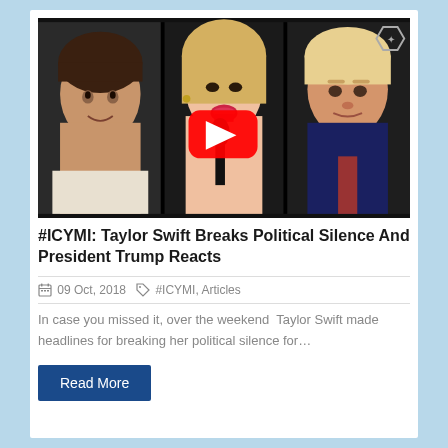[Figure (screenshot): Video thumbnail showing three people side by side: a young man on the left, Taylor Swift in the center with a YouTube play button overlay, and Donald Trump on the right]
#ICYMI: Taylor Swift Breaks Political Silence And President Trump Reacts
09 Oct, 2018   #ICYMI, Articles
In case you missed it, over the weekend  Taylor Swift made headlines for breaking her political silence for…
Read More